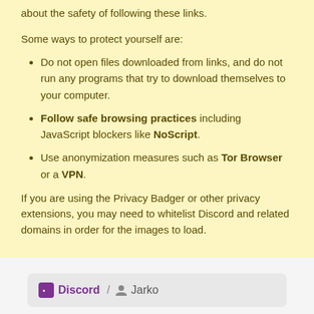about the safety of following these links.
Some ways to protect yourself are:
Do not open files downloaded from links, and do not run any programs that try to download themselves to your computer.
Follow safe browsing practices including JavaScript blockers like NoScript.
Use anonymization measures such as Tor Browser or a VPN.
If you are using the Privacy Badger or other privacy extensions, you may need to whitelist Discord and related domains in order for the images to load.
Discord / Jarko